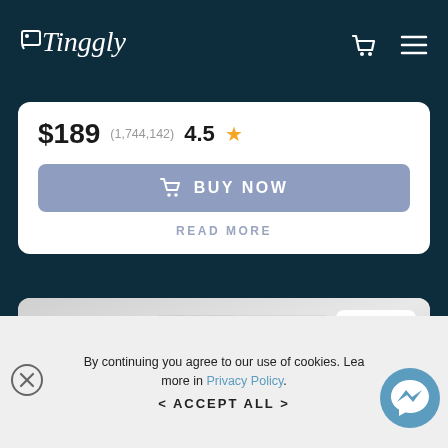[Figure (screenshot): Tinggly website screenshot showing navbar with logo, cart icon, hamburger menu, a product card with price $189, rating 4.5 stars with 1,744,142 reviews, BUY NOW button, READ MORE link, a product image showing Getaway For Two gift box with eco badge, and a cookie consent banner]
Tinggly
$189
(1,744,142) 4.5 ★
🛒 BUY NOW
READ MORE
[Figure (photo): Tinggly Getaway For Two gift box with eco badge, displayed against grey background with map imagery and luggage illustrations]
By continuing you agree to our use of cookies. Lea... more in Privacy Policy.
< ACCEPT ALL >